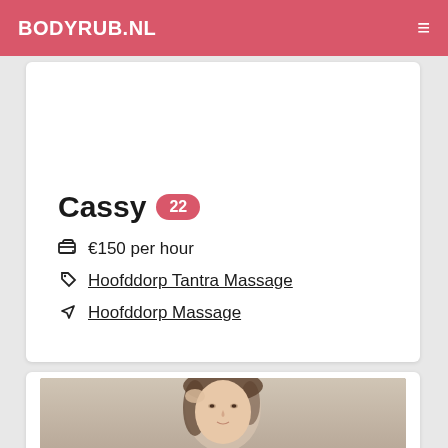BODYRUB.NL
Cassy 22
€150 per hour
Hoofddorp Tantra Massage
Hoofddorp Massage
[Figure (photo): Partial photo of a young woman with brown hair, touching her hair with her hand, visible from approximately the shoulders up.]